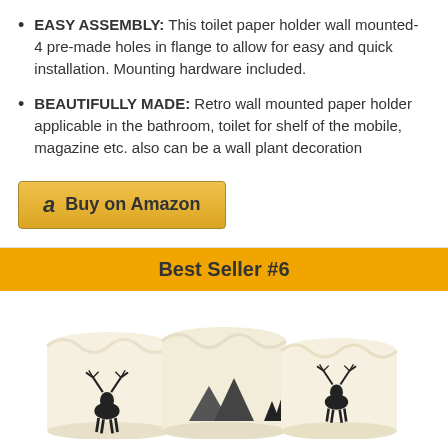EASY ASSEMBLY: This toilet paper holder wall mounted- 4 pre-made holes in flange to allow for easy and quick installation. Mounting hardware included.
BEAUTIFULLY MADE: Retro wall mounted paper holder applicable in the bathroom, toilet for shelf of the mobile, magazine etc. also can be a wall plant decoration
Buy on Amazon
Best Seller #6
[Figure (photo): Three flameless LED candles with deer/nature silhouette designs printed on them, cream/ivory colored wax candles shown side by side]